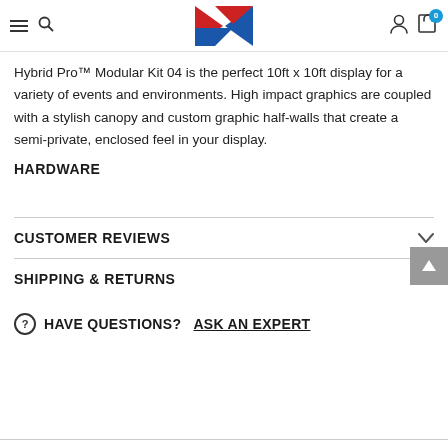DA Logo navigation header with hamburger menu, search, user icon, and cart (0)
Hybrid Pro™ Modular Kit 04 is the perfect 10ft x 10ft display for a variety of events and environments. High impact graphics are coupled with a stylish canopy and custom graphic half-walls that create a semi-private, enclosed feel in your display.
HARDWARE
CUSTOMER REVIEWS
SHIPPING & RETURNS
HAVE QUESTIONS? ASK AN EXPERT